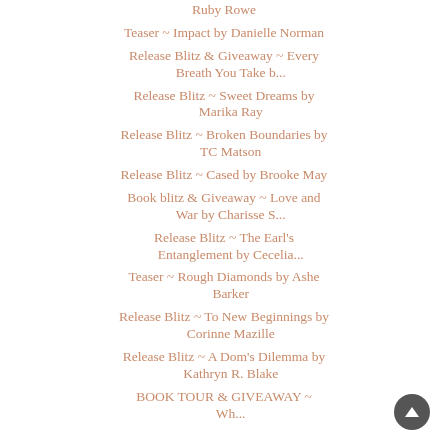Ruby Rowe
Teaser ~ Impact by Danielle Norman
Release Blitz & Giveaway ~ Every Breath You Take b...
Release Blitz ~ Sweet Dreams by Marika Ray
Release Blitz ~ Broken Boundaries by TC Matson
Release Blitz ~ Cased by Brooke May
Book blitz & Giveaway ~ Love and War by Charisse S...
Release Blitz ~ The Earl's Entanglement by Cecelia...
Teaser ~ Rough Diamonds by Ashe Barker
Release Blitz ~ To New Beginnings by Corinne Mazille
Release Blitz ~ A Dom's Dilemma by Kathryn R. Blake
BOOK TOUR & GIVEAWAY ~ Walking Through Shallow Wa...